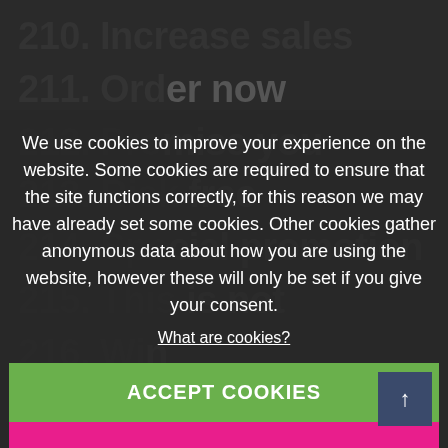210. Increase sales
211. Order now
212. Promise you
213. Risk free
214. Special promotion
215. This is not
216. Win
217. Incredible deal
218. Removes wrinkles
219. Reverses aging
We use cookies to improve your experience on the website. Some cookies are required to ensure that the site functions correctly, for this reason we may have already set some cookies. Other cookies gather anonymous data about how you are using the website, however these will only be set if you give your consent.
What are cookies?
ACCEPT COOKIES